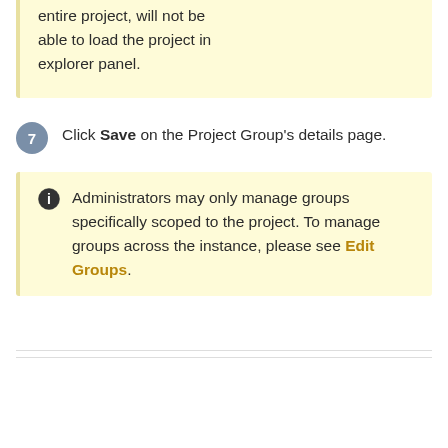entire project, will not be able to load the project in explorer panel.
7. Click Save on the Project Group's details page.
Administrators may only manage groups specifically scoped to the project. To manage groups across the instance, please see Edit Groups.